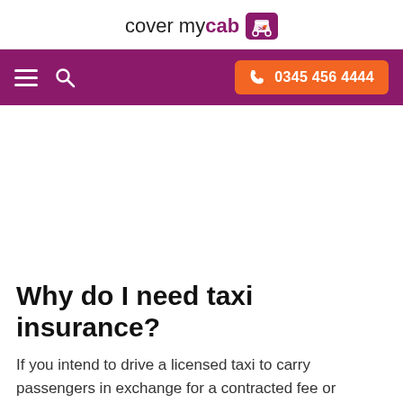cover my cab
[Figure (logo): Cover My Cab logo with taxi icon in purple]
Why do I need taxi insurance?
If you intend to drive a licensed taxi to carry passengers in exchange for a contracted fee or metered fare you